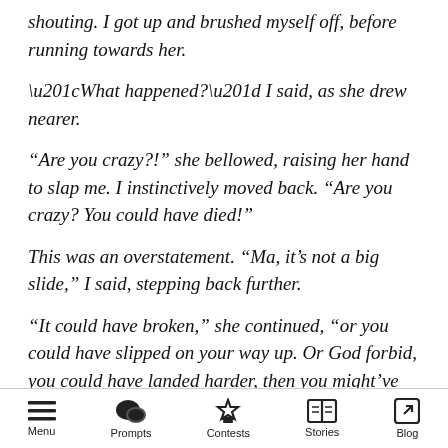She came thundering towards me, screaming and shouting. I got up and brushed myself off, before running towards her.
“What happened?” I said, as she drew nearer.
“Are you crazy?!” she bellowed, raising her hand to slap me. I instinctively moved back. “Are you crazy? You could have died!”
This was an overstatement. “Ma, it’s not a big slide,” I said, stepping back further.
“It could have broken,” she continued, “or you could have slipped on your way up. Or God forbid, you could have landed harder, then you might’ve hit your head. And then- then what would I do?”
Menu  Prompts  Contests  Stories  Blog